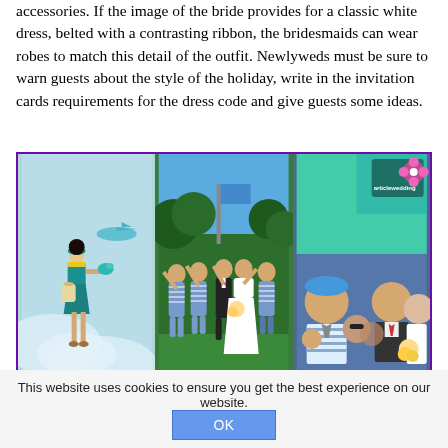accessories. If the image of the bride provides for a classic white dress, belted with a contrasting ribbon, the bridesmaids can wear robes to match this detail of the outfit. Newlyweds must be sure to warn guests about the style of the holiday, write in the invitation cards requirements for the dress code and give guests some ideas.
[Figure (photo): Three-panel collage of wedding photos: left panel shows a woman in a teal stewardess outfit suspended in the air against a sky background; center panel shows a wedding group with the bride in white and groomsmen in blue-striped shirts outdoors; right panel shows a close-up of a couple with guests in striped attire, with the articlewedding logo in the top right corner.]
This website uses cookies to ensure you get the best experience on our website.
OK